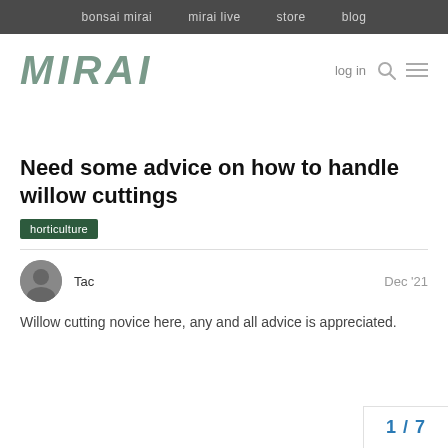bonsai mirai   mirai live   store   blog
MIRAI
Need some advice on how to handle willow cuttings
horticulture
Tac
Dec '21
Willow cutting novice here, any and all advice is appreciated.
1 / 7